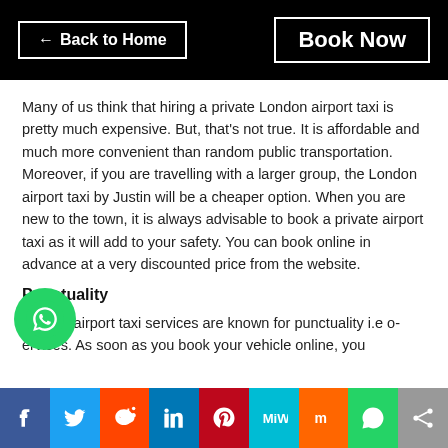← Back to Home   Book Now
Many of us think that hiring a private London airport taxi is pretty much expensive. But, that's not true. It is affordable and much more convenient than random public transportation. Moreover, if you are travelling with a larger group, the London airport taxi by Justin will be a cheaper option. When you are new to the town, it is always advisable to book a private airport taxi as it will add to your safety. You can book online in advance at a very discounted price from the website.
Punctuality
Justin London airport taxi services are known for punctuality i.e o services. As soon as you book your vehicle online, you
[Figure (other): Social sharing bar with icons: Facebook, Twitter, Reddit, LinkedIn, Pinterest, MeWe, Mix, WhatsApp, Share]
[Figure (other): WhatsApp floating button circle (green)]